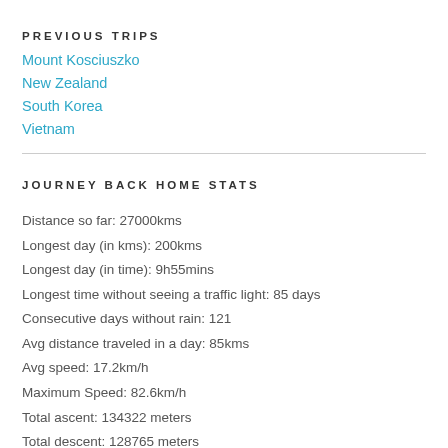PREVIOUS TRIPS
Mount Kosciuszko
New Zealand
South Korea
Vietnam
JOURNEY BACK HOME STATS
Distance so far: 27000kms
Longest day (in kms): 200kms
Longest day (in time): 9h55mins
Longest time without seeing a traffic light: 85 days
Consecutive days without rain: 121
Avg distance traveled in a day: 85kms
Avg speed: 17.2km/h
Maximum Speed: 82.6km/h
Total ascent: 134322 meters
Total descent: 128765 meters
Total calories burnt: 659 000